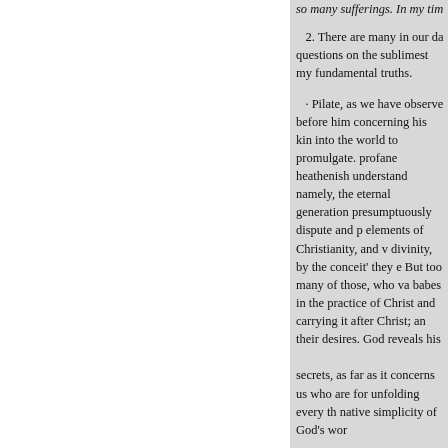so many sufferings. In my case...
2. There are many in our da... questions on the sublimest my... fundamental truths.
· Pilate, as we have observe... before him concerning his kin... into the world to promulgate. ... profane heathenish understand... namely, the eternal generation... presumptuously dispute and p... elements of Christianity, and v... divinity, by the conceit' they e... But too many of those, who va... babes in the practice of Christ... and carrying it after Christ; an... their desires. God reveals his secrets, as far as it concerns us... who are for unfolding every th... native simplicity of God's wor...
Blessed Jesus ! preserve us fro... may know ourselves, and fron... presumptuously to explain thy... examine our own sinful gene...